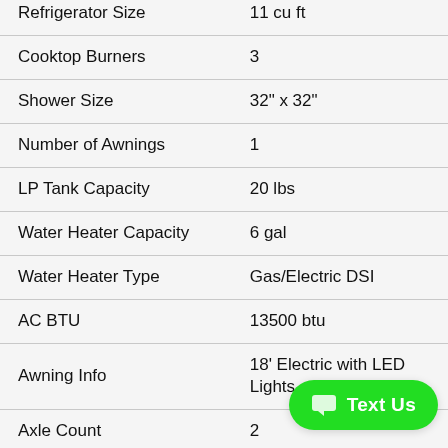| Feature | Value |
| --- | --- |
| Refrigerator Size | 11 cu ft |
| Cooktop Burners | 3 |
| Shower Size | 32" x 32" |
| Number of Awnings | 1 |
| LP Tank Capacity | 20 lbs |
| Water Heater Capacity | 6 gal |
| Water Heater Type | Gas/Electric DSI |
| AC BTU | 13500 btu |
| Awning Info | 18' Electric with LED Lights |
| Axle Count | 2 |
| Number of LP Tanks | 2 |
| Shower Type | Ra... |